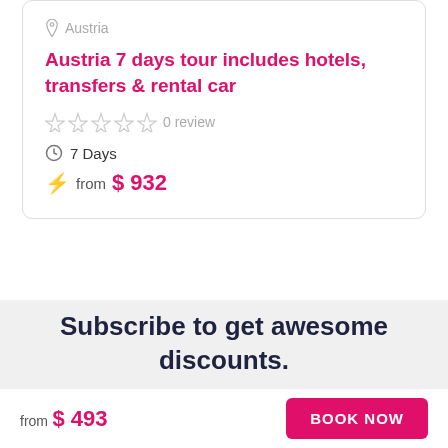Austria
Austria 7 days tour includes hotels, transfers & rental car
0 review
7 Days
from $ 932
Subscribe to get awesome discounts.
from $ 493
BOOK NOW